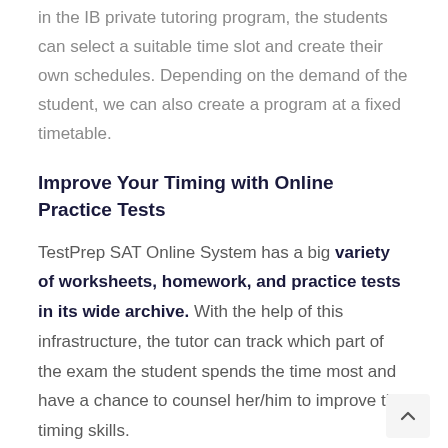in the IB private tutoring program, the students can select a suitable time slot and create their own schedules. Depending on the demand of the student, we can also create a program at a fixed timetable.
Improve Your Timing with Online Practice Tests
TestPrep SAT Online System has a big variety of worksheets, homework, and practice tests in its wide archive. With the help of this infrastructure, the tutor can track which part of the exam the student spends the time most and have a chance to counsel her/him to improve the timing skills.